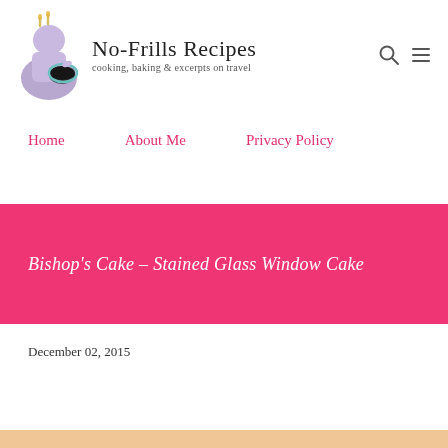[Figure (logo): No-Frills Recipes logo with purple chef figure and script text, tagline: cooking, baking & excerpts on travel]
[Figure (other): Search icon (magnifying glass) and menu icon (hamburger) in top right header]
Home   About Me   Privacy Policy
Bishop's Cake – Stained Glass Window Cake
December 02, 2015